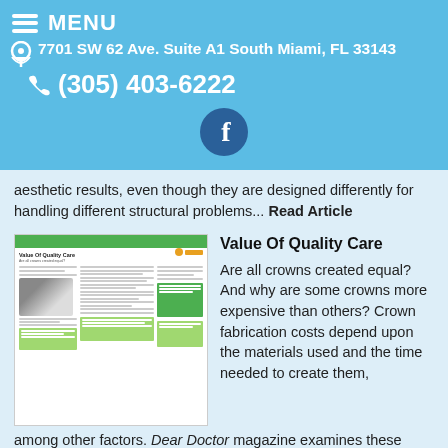MENU
7701 SW 62 Ave. Suite A1 South Miami, FL 33143
(305) 403-6222
aesthetic results, even though they are designed differently for handling different structural problems... Read Article
Value Of Quality Care
[Figure (screenshot): Thumbnail image of a dental article titled 'Value Of Quality Care' showing a crown and article text in a magazine layout]
Are all crowns created equal? And why are some crowns more expensive than others? Crown fabrication costs depend upon the materials used and the time needed to create them, among other factors. Dear Doctor magazine examines these variables... Read Article